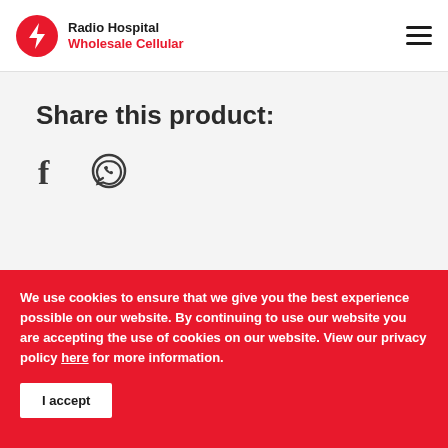[Figure (logo): Radio Hospital Wholesale Cellular logo with red circle containing a lightning bolt icon and text]
Share this product:
[Figure (other): Social share icons: Facebook (f) and WhatsApp (speech bubble with phone)]
We use cookies to ensure that we give you the best experience possible on our website. By continuing to use our website you are accepting the use of cookies on our website. View our privacy policy here for more information.
I accept